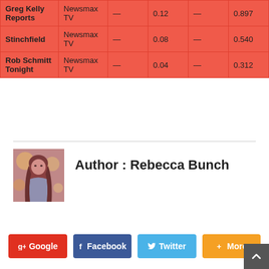| Greg Kelly Reports | Newsmax TV | — | 0.12 | — | 0.897 |
| Stinchfield | Newsmax TV | — | 0.08 | — | 0.540 |
| Rob Schmitt Tonight | Newsmax TV | — | 0.04 | — | 0.312 |
[Figure (photo): Author photo of Rebecca Bunch - woman with long dark hair]
Author : Rebecca Bunch
SHARE THIS
Google  Facebook  Twitter  More